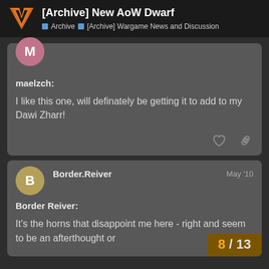[Archive] New AoW Dwarf — Archive > [Archive] Wargame News and Discussion
maelzch:
I like this one, will definately be getting it to add to my Dawi Zharr!
Border.Reiver May '10
Border Reiver:
It's the horns that disappoint me here - right and seem to be an afterthought or
8 / 13